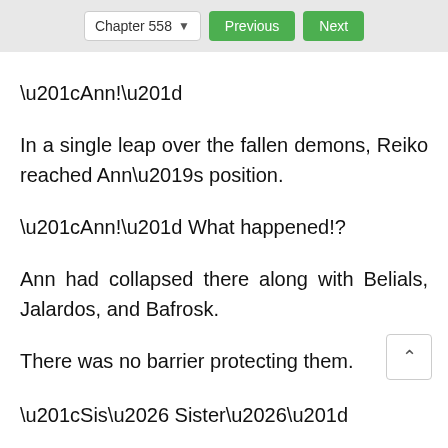Chapter 558  Previous  Next
“Ann!”
In a single leap over the fallen demons, Reiko reached Ann’s position.
“Ann!” What happened!?
Ann had collapsed there along with Belials, Jalardos, and Bafrosk.
There was no barrier protecting them.
“Sis… Sister…”